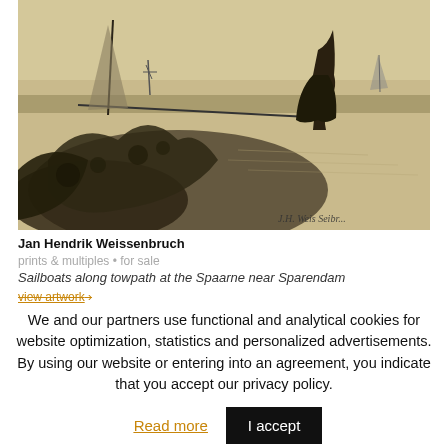[Figure (illustration): A pencil/charcoal sketch of sailboats along a towpath with figures and windmills in the background, signed by the artist. Warm sepia/tan toned paper.]
Jan Hendrik Weissenbruch
prints & multiples • for sale
Sailboats along towpath at the Spaarne near Sparendam
view artwork ›
We and our partners use functional and analytical cookies for website optimization, statistics and personalized advertisements. By using our website or entering into an agreement, you indicate that you accept our privacy policy.
Read more
I accept